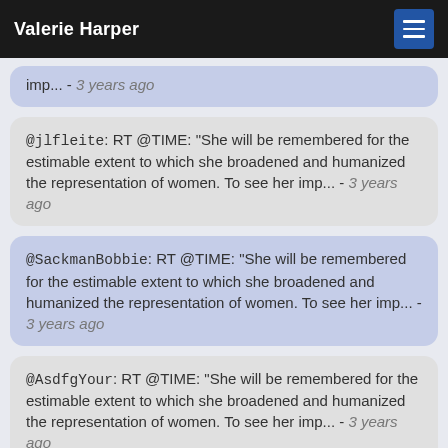Valerie Harper
imp... - 3 years ago
@jlfleite: RT @TIME: "She will be remembered for the estimable extent to which she broadened and humanized the representation of women. To see her imp... - 3 years ago
@SackmanBobbie: RT @TIME: "She will be remembered for the estimable extent to which she broadened and humanized the representation of women. To see her imp... - 3 years ago
@AsdfgYour: RT @TIME: "She will be remembered for the estimable extent to which she broadened and humanized the representation of women. To see her imp... - 3 years ago